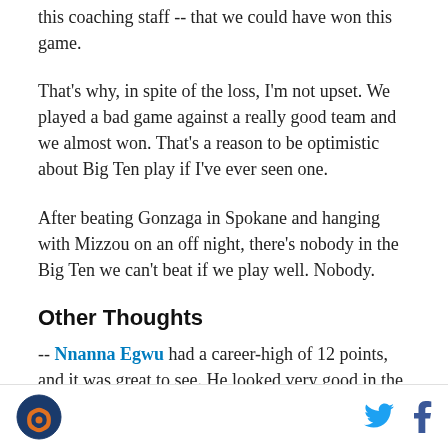this coaching staff -- that we could have won this game.
That's why, in spite of the loss, I'm not upset. We played a bad game against a really good team and we almost won. That's a reason to be optimistic about Big Ten play if I've ever seen one.
After beating Gonzaga in Spokane and hanging with Mizzou on an off night, there's nobody in the Big Ten we can't beat if we play well. Nobody.
Other Thoughts
-- Nnanna Egwu had a career-high of 12 points, and it was great to see. He looked very good in the first half